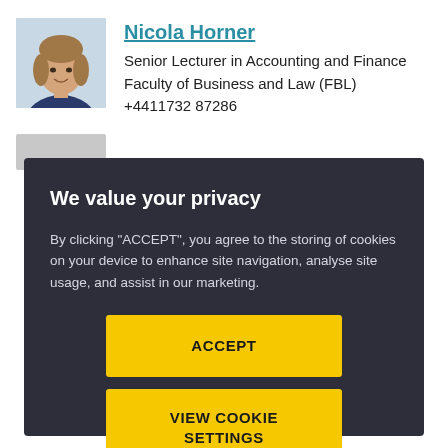[Figure (photo): Headshot photo of Nicola Horner, a woman with light brown hair, wearing a dark blue top]
Nicola Horner
Senior Lecturer in Accounting and Finance
Faculty of Business and Law (FBL)
+4411732 87286
[Figure (photo): Partially visible headshot photo of another person]
We value your privacy
By clicking "ACCEPT", you agree to the storing of cookies on your device to enhance site navigation, analyse site usage, and assist in our marketing.
ACCEPT
VIEW COOKIE SETTINGS